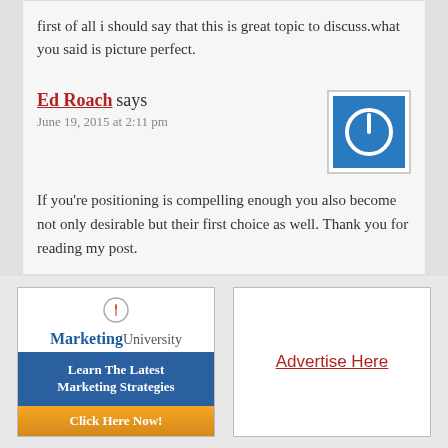first of all i should say that this is great topic to discuss.what you said is picture perfect.
Ed Roach says
June 19, 2015 at 2:11 pm
[Figure (logo): Blue square avatar with white power/user icon]
If you're positioning is compelling enough you also become not only desirable but their first choice as well. Thank you for reading my post.
[Figure (illustration): Marketing University advertisement banner with logo, 'Learn The Latest Marketing Strategies' text, and 'Click Here Now!' orange button]
Advertise Here